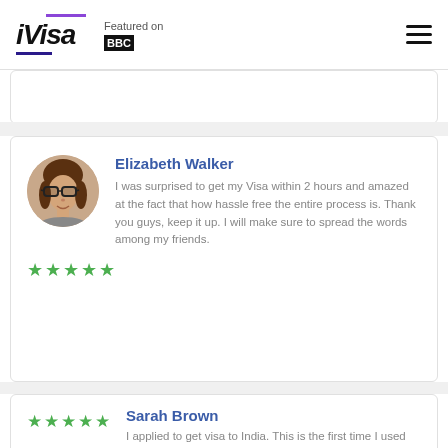iVisa — Featured on BBC
[Figure (photo): Partial view of a review card (top portion cut off)]
Elizabeth Walker
I was surprised to get my Visa within 2 hours and amazed at the fact that how hassle free the entire process is. Thank you guys, keep it up. I will make sure to spread the words among my friends.
Sarah Brown
I applied to get visa to India. This is the first time I used this service. Highly recommend